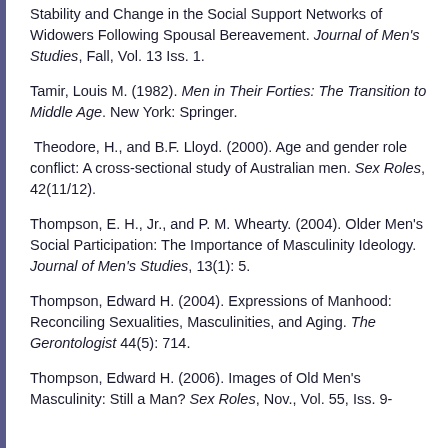Stability and Change in the Social Support Networks of Widowers Following Spousal Bereavement. Journal of Men's Studies, Fall, Vol. 13 Iss. 1.
Tamir, Louis M. (1982). Men in Their Forties: The Transition to Middle Age. New York: Springer.
Theodore, H., and B.F. Lloyd. (2000). Age and gender role conflict: A cross-sectional study of Australian men. Sex Roles, 42(11/12).
Thompson, E. H., Jr., and P. M. Whearty. (2004). Older Men's Social Participation: The Importance of Masculinity Ideology. Journal of Men's Studies, 13(1): 5.
Thompson, Edward H. (2004). Expressions of Manhood: Reconciling Sexualities, Masculinities, and Aging. The Gerontologist 44(5): 714.
Thompson, Edward H. (2006). Images of Old Men's Masculinity: Still a Man? Sex Roles, Nov., Vol. 55, Iss. 9-